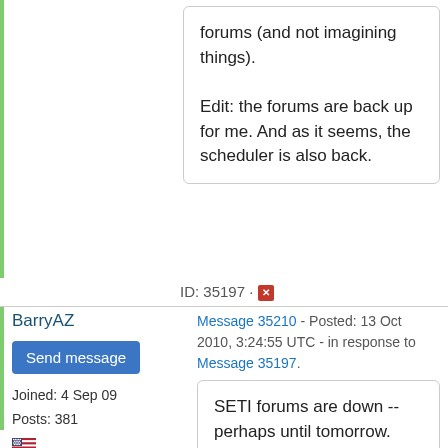forums (and not imagining things).

Edit: the forums are back up for me. And as it seems, the scheduler is also back.
ID: 35197 · [delete icon]
BarryAZ
Send message
Joined: 4 Sep 09
Posts: 381
Message 35210 - Posted: 13 Oct 2010, 3:24:55 UTC - in response to Message 35197.
SETI forums are down -- perhaps until tomorrow. That light folks were seeing over the weekend -- yup, oncoming train.